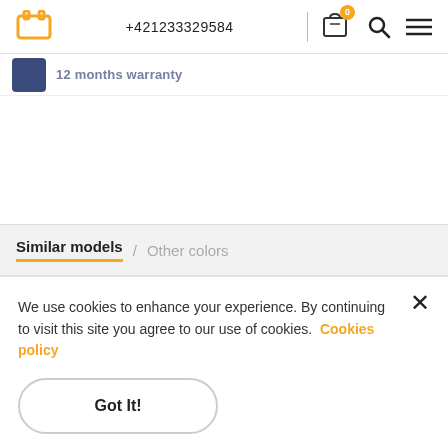+421233329584
12 months warranty
Similar models / Other colors
We use cookies to enhance your experience. By continuing to visit this site you agree to our use of cookies. Cookies policy
Got It!